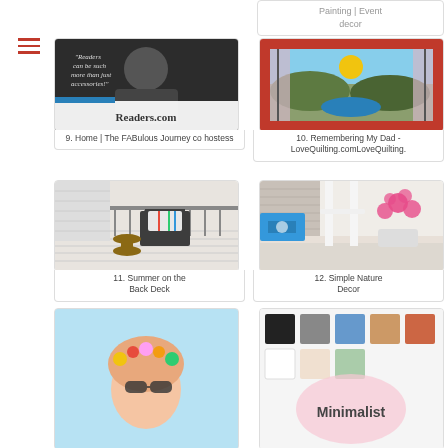[Figure (screenshot): Top right partial card showing 'Painting | Event decor' text]
[Figure (photo): Photo of woman with glasses smiling, Readers.com logo overlay]
9. Home | The FABulous Journey co hostess
[Figure (photo): Quilt artwork showing landscape with sun and water]
10. Remembering My Dad - LoveQuilting.comLoveQuilting.
[Figure (photo): Outdoor patio with dark chair and colorful pillow on deck]
11. Summer on the Back Deck
[Figure (photo): White porch steps with pink flowering plant and blue pillow]
12. Simple Nature Decor
[Figure (photo): Woman with flower crown headband, partial view]
[Figure (screenshot): Minimalist graphic with color swatches and 'Minimalist' text]